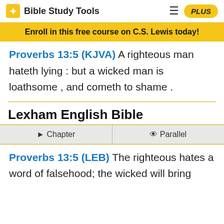Bible Study Tools | PLUS
Enroll in this free course on C.S. Lewis today!
Proverbs 13:5 (KJVA) A righteous man hateth lying : but a wicked man is loathsome , and cometh to shame .
Lexham English Bible
Chapter | Parallel
Proverbs 13:5 (LEB) The righteous hates a word of falsehood; the wicked will bring